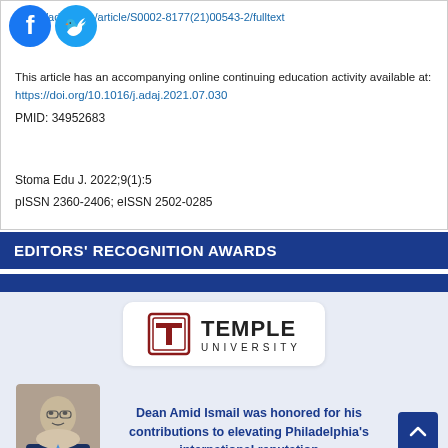https://...ada.org/article/S0002-8177(21)00543-2/fulltext
This article has an accompanying online continuing education activity available at:
https://doi.org/10.1016/j.adaj.2021.07.030
PMID: 34952683
Stoma Edu J. 2022;9(1):5
pISSN 2360-2406; eISSN 2502-0285
EDITORS' RECOGNITION AWARDS
[Figure (logo): Temple University logo with red T icon and text TEMPLE UNIVERSITY]
[Figure (photo): Portrait photo of Dean Amid Ismail]
Dean Amid Ismail was honored for his contributions to elevating Philadelphia's international reputation